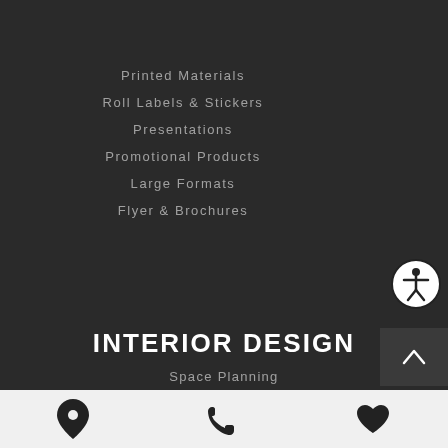Printed Materials
Roll Labels & Stickers
Presentations
Promotional Products
Large Formats
Flyer & Brochures
INTERIOR DESIGN
Space Planning
Furniture, Accessory & Art Selections
[Figure (illustration): Accessibility icon - person in circle]
[Figure (illustration): Scroll up arrow button]
[Figure (illustration): Footer bar with location pin, phone, and heart icons]